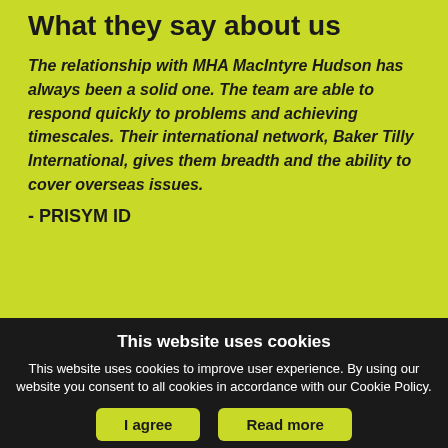What they say about us
The relationship with MHA MacIntyre Hudson has always been a solid one. The team are able to respond quickly to problems and achieving timescales. Their international network, Baker Tilly International, gives them breadth and the ability to cover overseas issues.
- PRISYM ID
This website uses cookies
This website uses cookies to improve user experience. By using our website you consent to all cookies in accordance with our Cookie Policy.
I agree
Read more